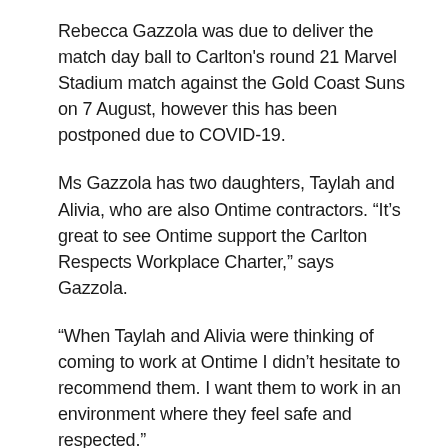Rebecca Gazzola was due to deliver the match day ball to Carlton's round 21 Marvel Stadium match against the Gold Coast Suns on 7 August, however this has been postponed due to COVID-19.
Ms Gazzola has two daughters, Taylah and Alivia, who are also Ontime contractors. “It’s great to see Ontime support the Carlton Respects Workplace Charter,” says Gazzola.
“When Taylah and Alivia were thinking of coming to work at Ontime I didn’t hesitate to recommend them. I want them to work in an environment where they feel safe and respected.”
Ontime Delivery Solutions has sponsored Carlton’s coaches since 2016.